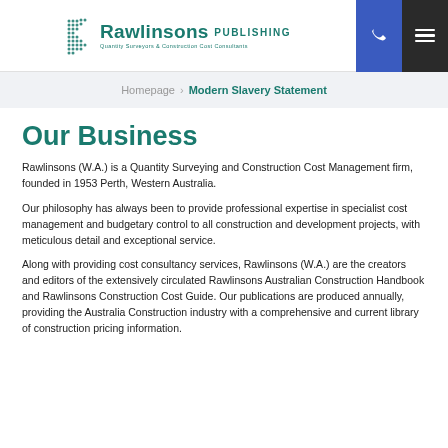Rawlinsons Publishing — header with phone and menu icons
Homepage > Modern Slavery Statement
Our Business
Rawlinsons (W.A.) is a Quantity Surveying and Construction Cost Management firm, founded in 1953 Perth, Western Australia.
Our philosophy has always been to provide professional expertise in specialist cost management and budgetary control to all construction and development projects, with meticulous detail and exceptional service.
Along with providing cost consultancy services, Rawlinsons (W.A.) are the creators and editors of the extensively circulated Rawlinsons Australian Construction Handbook and Rawlinsons Construction Cost Guide. Our publications are produced annually, providing the Australia Construction industry with a comprehensive and current library of construction pricing information.